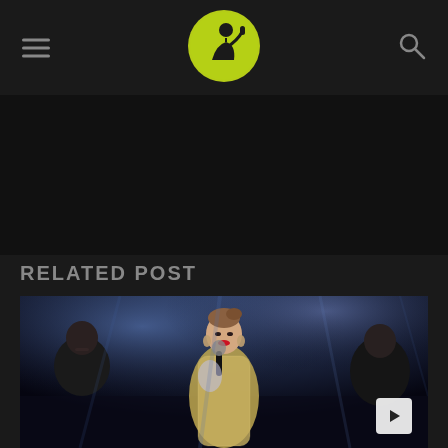Website header with hamburger menu, logo, and search icon
[Figure (logo): Yellow-green circular logo with a person holding a microphone, black background]
RELATED POST
[Figure (photo): Woman with red lips in sparkly outfit holding an award on stage at an awards show, flanked by other people, stage lights in background]